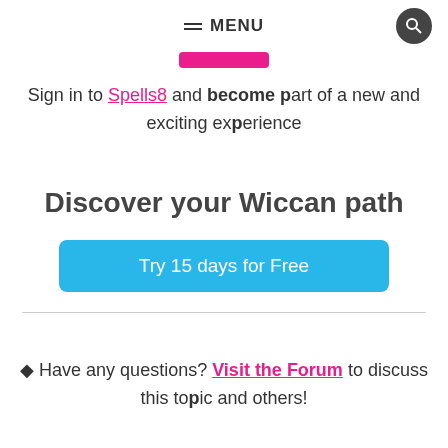≡ MENU
Sign in to Spells8 and become part of a new and exciting experience
Discover your Wiccan path
Try 15 days for Free
🔮 Have any questions? Visit the Forum to discuss this topic and others!